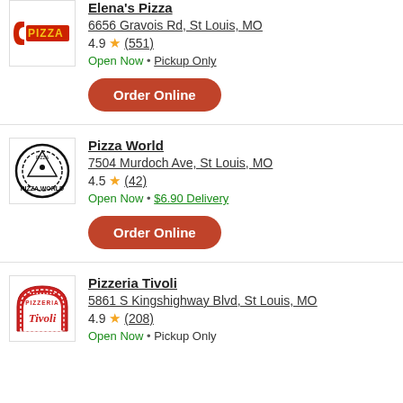Elena's Pizza
6656 Gravois Rd, St Louis, MO
4.9 ★ (551)
Open Now • Pickup Only
[Order Online]
Pizza World
7504 Murdoch Ave, St Louis, MO
4.5 ★ (42)
Open Now • $6.90 Delivery
[Order Online]
Pizzeria Tivoli
5861 S Kingshighway Blvd, St Louis, MO
4.9 ★ (208)
Open Now • Pickup Only